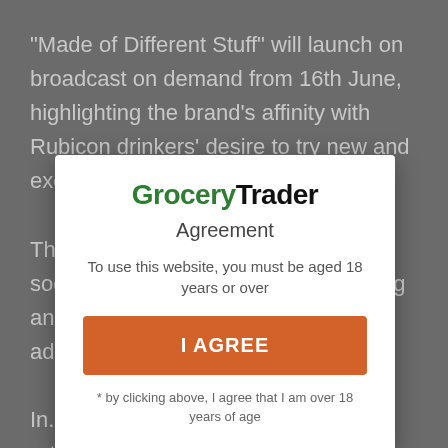"Made of Different Stuff" will launch on broadcast on demand from 16th June, highlighting the brand's affinity with Rubicon drinkers' desire to try new and exciting experiences.
The campaign also includes shopper, social and digital advertising, sampling and shopper marketing activity, and ad...
In... retailers, and provide bespoke POS for wholesalers to create in-depot theatre and drive incremental soft drinks sales. Retailers and wholesalers interested in ordering POS should email trademarketing@agbarr.co.uk with their
[Figure (screenshot): Modal dialog overlay on a Grocery Trader website. Contains: Grocery Trader logo (green and black bold text), 'Agreement' heading, age verification text 'To use this website, you must be aged 18 years or over', an orange 'I AGREE' button, and footnote '* by clicking above, I agree that I am over 18 years of age'.]